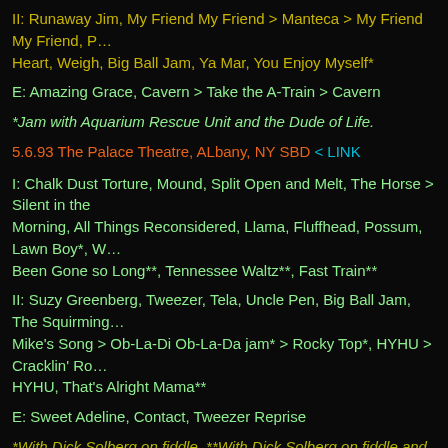II: Runaway Jim, My Friend My Friend > Manteca > My Friend My Friend, P... Heart, Weigh, Big Ball Jam, Ya Mar, You Enjoy Myself*
E: Amazing Grace, Cavern > Take the A-Train > Cavern
*Jam with Aquarium Rescue Unit and the Dude of Life.
5.6.93 The Palace Theatre, ALbany, NY SBD < LINK
I: Chalk Dust Torture, Mound, Split Open and Melt, The Horse > Silent in the Morning, All Things Reconsidered, Llama, Fluffhead, Possum, Lawn Boy*, W... Been Gone so Long**, Tennessee Waltz**, Fast Train**
II: Suzy Greenberg, Tweezer, Tela, Uncle Pen, Big Ball Jam, The Squirming... Mike's Song > Ob-La-Di Ob-La-Da jam* > Rocky Top*, HYHU > Cracklin' Ro... HYHU, That's Alright Mama**
E: Sweet Adeline, Contact, Tweezer Reprise
*With Dick Solberg on fiddle. **With Dick Solberg on fiddle and Jeff Walton on acoustic guitar.
***
VIDEO OF THE WEEKEND:
"Mike's Song > H2" 3.31.92 Columbia, MO
You need to a flashplayer enabled browser to view this YouTube video.